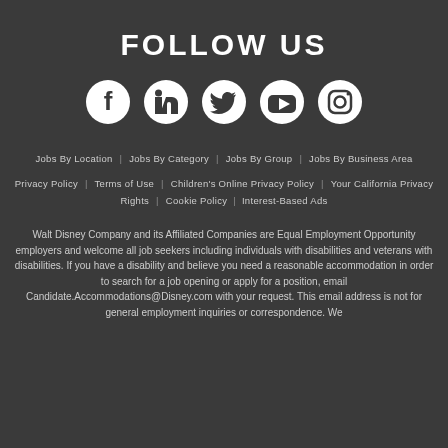FOLLOW US
[Figure (illustration): Row of social media icons: Facebook, LinkedIn, Twitter, YouTube, Instagram]
Jobs By Location | Jobs By Category | Jobs By Group | Jobs By Business Area
Privacy Policy | Terms of Use | Children's Online Privacy Policy | Your California Privacy Rights | Cookie Policy | Interest-Based Ads
Walt Disney Company and its Affiliated Companies are Equal Employment Opportunity employers and welcome all job seekers including individuals with disabilities and veterans with disabilities. If you have a disability and believe you need a reasonable accommodation in order to search for a job opening or apply for a position, email Candidate.Accommodations@Disney.com with your request. This email address is not for general employment inquiries or correspondence. We